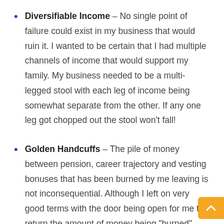Diversifiable Income – No single point of failure could exist in my business that would ruin it. I wanted to be certain that I had multiple channels of income that would support my family. My business needed to be a multi-legged stool with each leg of income being somewhat separate from the other. If any one leg got chopped out the stool won't fall!
Golden Handcuffs – The pile of money between pension, career trajectory and vesting bonuses that has been burned by me leaving is not inconsequential. Although I left on very good terms with the door being open for me to return the amount of money being "burned" certainly